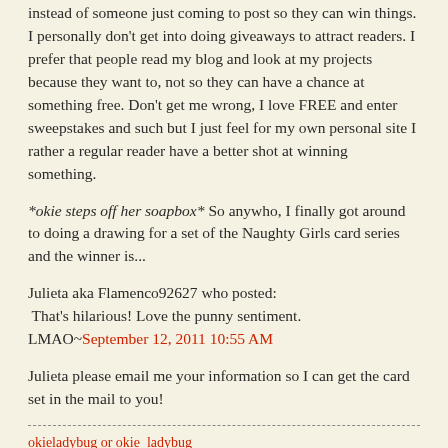instead of someone just coming to post so they can win things. I personally don't get into doing giveaways to attract readers. I prefer that people read my blog and look at my projects because they want to, not so they can have a chance at something free. Don't get me wrong, I love FREE and enter sweepstakes and such but I just feel for my own personal site I rather a regular reader have a better shot at winning something.
*okie steps off her soapbox* So anywho, I finally got around to doing a drawing for a set of the Naughty Girls card series and the winner is...
Julieta aka Flamenco92627 who posted:
 That's hilarious! Love the punny sentiment. LMAO~September 12, 2011 10:55 AM
Julieta please email me your information so I can get the card set in the mail to you!
okieladybug or okie_ladybug
Share